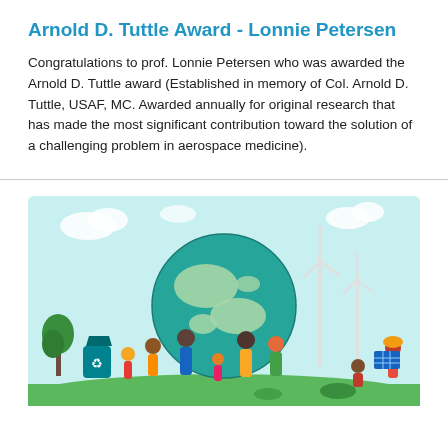Arnold D. Tuttle Award - Lonnie Petersen
Congratulations to prof. Lonnie Petersen who was awarded the Arnold D. Tuttle award (Established in memory of Col. Arnold D. Tuttle, USAF, MC. Awarded annually for original research that has made the most significant contribution toward the solution of a challenging problem in aerospace medicine).
[Figure (illustration): Flat-style illustration of diverse people collaborating around a large globe, with wind turbines, a recycling bin, solar panels, and green plants, representing environmental sustainability and clean energy.]